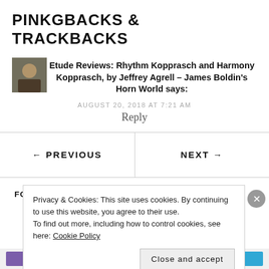PINKGBACKS & TRACKBACKS
Etude Reviews: Rhythm Kopprasch and Harmony Kopprasch, by Jeffrey Agrell – James Boldin's Horn World says:
AUGUST 20, 2018 AT 7:21 AM
Reply
← PREVIOUS
NEXT →
FOLLOW HORNWORLD
Privacy & Cookies: This site uses cookies. By continuing to use this website, you agree to their use.
To find out more, including how to control cookies, see here: Cookie Policy
Close and accept